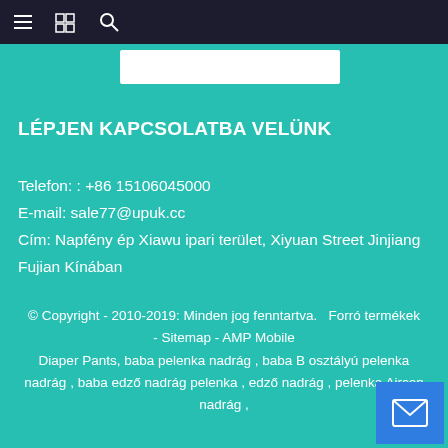≡  📋  🔍
LÉPJEN KAPCSOLATBA VELÜNK
Telefon: : +86 15106045000
E-mail: sale77@upuk.cc
Cím: Napfény ép Xiawu ipari terület, Xiyuan Street Jinjiang Fujian Kínában
© Copyright - 2010-2019: Minden jog fenntartva.  Forró termékek - Sitemap - AMP Mobile
Diaper Pants, baba pelenka nadrág , baba B osztályú pelenka nadrág , baba edző nadrág pelenka , edző nadrág , pelenka Aircon nadrág ,